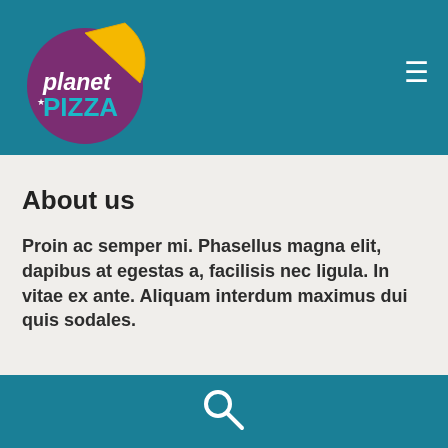[Figure (logo): Planet Pizza logo: purple circle with yellow pizza slice, white italic text 'planet' and teal bold text 'PIZZA']
About us
Proin ac semper mi. Phasellus magna elit, dapibus at egestas a, facilisis nec ligula. In vitae ex ante. Aliquam interdum maximus dui quis sodales.
[Figure (illustration): White magnifying glass search icon on teal background footer]